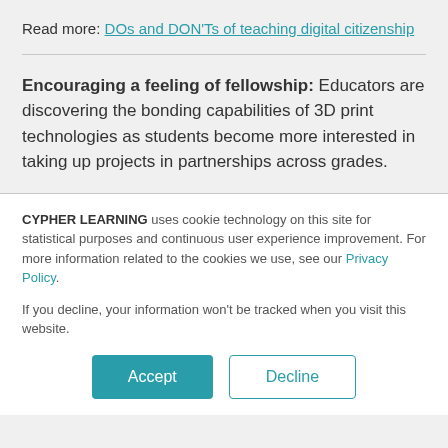Read more: DOs and DON'Ts of teaching digital citizenship
Encouraging a feeling of fellowship: Educators are discovering the bonding capabilities of 3D print technologies as students become more interested in taking up projects in partnerships across grades.
CYPHER LEARNING uses cookie technology on this site for statistical purposes and continuous user experience improvement. For more information related to the cookies we use, see our Privacy Policy.
If you decline, your information won't be tracked when you visit this website.